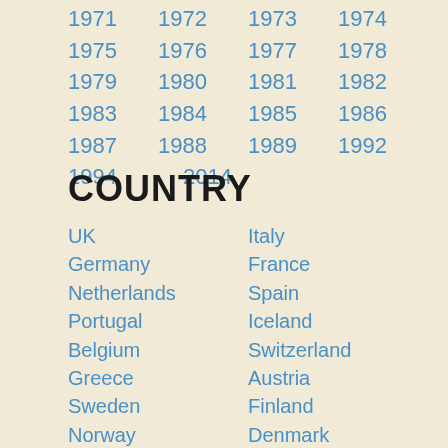1971  1972  1973  1974
1975  1976  1977  1978
1979  1980  1981  1982
1983  1984  1985  1986
1987  1988  1989  1992
1994  2014
COUNTRY
UK
Italy
Germany
France
Netherlands
Spain
Portugal
Iceland
Belgium
Switzerland
Greece
Austria
Sweden
Finland
Norway
Denmark
Czechoslovakia
Yugoslavia
Hungary
Romania
Turkey
Israel
Poland
Russia
USSR
US